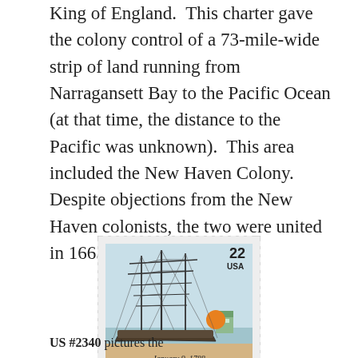King of England.  This charter gave the colony control of a 73-mile-wide strip of land running from Narragansett Bay to the Pacific Ocean (at that time, the distance to the Pacific was unknown).  This area included the New Haven Colony.  Despite objections from the New Haven colonists, the two were united in 1665.
[Figure (photo): US postage stamp #2340 showing a tall ship with masts and rigging, an orange sun, and a small building in the background. Stamp reads '22 USA', 'January 9, 1788', and 'Connecticut' in red italic text.]
US #2340 pictures the